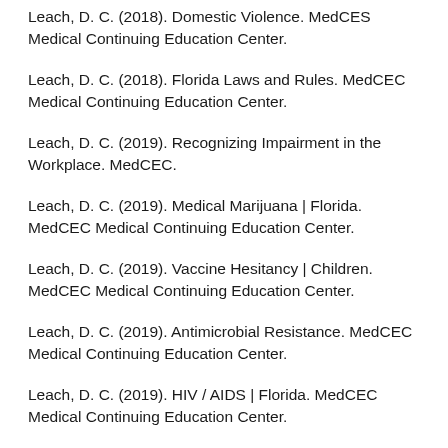Leach, D. C. (2018). Domestic Violence. MedCES Medical Continuing Education Center.
Leach, D. C. (2018). Florida Laws and Rules. MedCEC Medical Continuing Education Center.
Leach, D. C. (2019). Recognizing Impairment in the Workplace. MedCEC.
Leach, D. C. (2019). Medical Marijuana | Florida. MedCEC Medical Continuing Education Center.
Leach, D. C. (2019). Vaccine Hesitancy | Children. MedCEC Medical Continuing Education Center.
Leach, D. C. (2019). Antimicrobial Resistance. MedCEC Medical Continuing Education Center.
Leach, D. C. (2019). HIV / AIDS | Florida. MedCEC Medical Continuing Education Center.
Leach, D. C. (2019). Vector-Borne Diseases. MedCEC Medical Continuing Education Center.